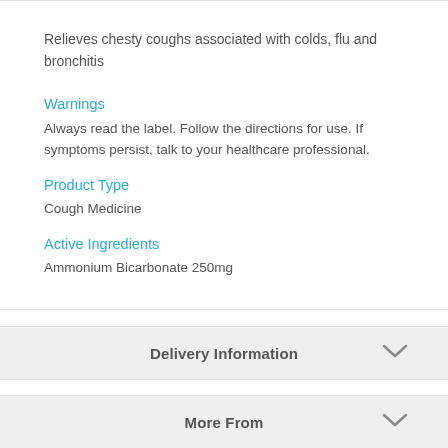Relieves chesty coughs associated with colds, flu and bronchitis
Warnings
Always read the label. Follow the directions for use. If symptoms persist, talk to your healthcare professional.
Product Type
Cough Medicine
Active Ingredients
Ammonium Bicarbonate 250mg
Delivery Information
More From